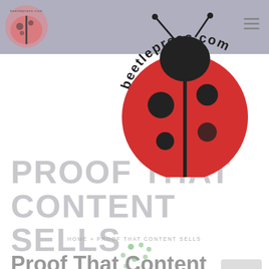beetlepress.com
[Figure (logo): Beetlepress.com ladybug logo — large red ladybug with black spots overlapping the header and page body, with curved 'beetlepress.com' text arc above]
PROOF THAT CONTENT SELLS
HOME » PROOF THAT CONTENT SELLS
Proof That Content Sells
By Janice Beetle  Posted  In Blog